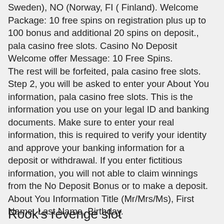Sweden), NO (Norway, FI ( Finland). Welcome Package: 10 free spins on registration plus up to 100 bonus and additional 20 spins on deposit., pala casino free slots. Casino No Deposit Welcome offer Message: 10 Free Spins.
The rest will be forfeited, pala casino free slots.
Step 2, you will be asked to enter your About You information, pala casino free slots. This is the information you use on your legal ID and banking documents. Make sure to enter your real information, this is required to verify your identity and approve your banking information for a deposit or withdrawal. If you enter fictitious information, you will not able to claim winnings from the No Deposit Bonus or to make a deposit. About You Information Title (Mr/Mrs/Ms), First Name, Last Name, Birthday.
Rook's revenge slot